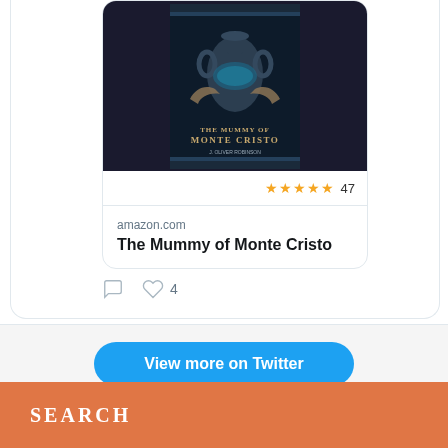[Figure (screenshot): Book cover for 'The Mummy of Monte Cristo' shown in a Twitter/Amazon link card. Dark blue/purple background with an ancient vase and silhouetted hands.]
★★★★★ 47
amazon.com
The Mummy of Monte Cristo
4
View more on Twitter
Learn more about privacy on Twitter
SEARCH